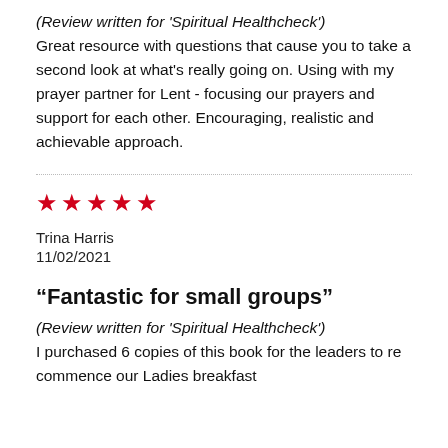(Review written for 'Spiritual Healthcheck') Great resource with questions that cause you to take a second look at what's really going on. Using with my prayer partner for Lent - focusing our prayers and support for each other. Encouraging, realistic and achievable approach.
[Figure (other): Horizontal dotted divider line]
[Figure (other): Five red star rating icons]
Trina Harris
11/02/2021
“Fantastic for small groups”
(Review written for 'Spiritual Healthcheck') I purchased 6 copies of this book for the leaders to re commence our Ladies breakfast